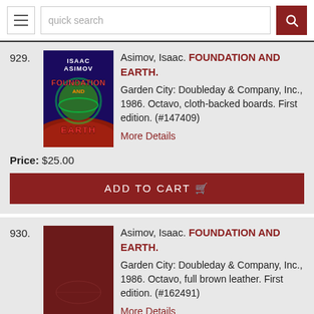quick search
929. Asimov, Isaac. FOUNDATION AND EARTH. Garden City: Doubleday & Company, Inc., 1986. Octavo, cloth-backed boards. First edition. (#147409) More Details
Price: $25.00
ADD TO CART
930. Asimov, Isaac. FOUNDATION AND EARTH. Garden City: Doubleday & Company, Inc., 1986. Octavo, full brown leather. First edition. (#162491) More Details